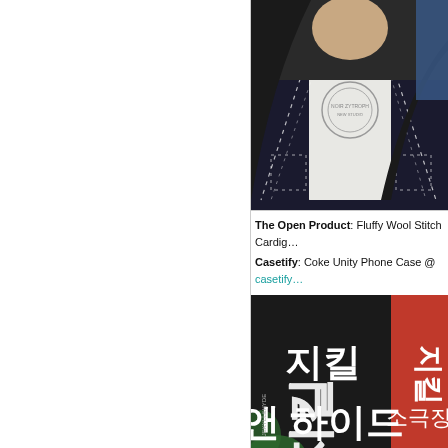[Figure (photo): Person wearing a white graphic tee and dark navy/black fluffy wool stitch cardigan with white dotted stitching details, gold necklace visible, upper body cropped photo]
The Open Product: Fluffy Wool Stitch Cardig…
Casetify: Coke Unity Phone Case @ casetify…
[Figure (photo): Photo showing dark banner/poster with Korean text and white calligraphy style lettering, dates 2021.10.19 – 2022.05.08 and 사롯데씨어터 visible, red banner also visible on right side]